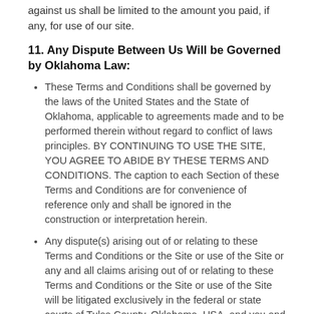against us shall be limited to the amount you paid, if any, for use of our site.
11. Any Dispute Between Us Will be Governed by Oklahoma Law:
These Terms and Conditions shall be governed by the laws of the United States and the State of Oklahoma, applicable to agreements made and to be performed therein without regard to conflict of laws principles. BY CONTINUING TO USE THE SITE, YOU AGREE TO ABIDE BY THESE TERMS AND CONDITIONS. The caption to each Section of these Terms and Conditions are for convenience of reference only and shall be ignored in the construction or interpretation herein.
Any dispute(s) arising out of or relating to these Terms and Conditions or the Site or use of the Site or any and all claims arising out of or relating to these Terms and Conditions or the Site or use of the Site will be litigated exclusively in the federal or state courts of Tulsa County, Oklahoma, USA, and you and YPNG-CARRERS.com and YPNG L.L.C. consent to personal jurisdiction in those courts.